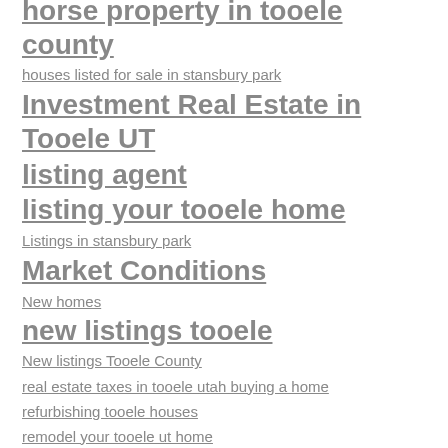horse property in tooele county
houses listed for sale in stansbury park
Investment Real Estate in Tooele UT
listing agent
listing your tooele home
Listings in stansbury park
Market Conditions
New homes
new listings tooele
New listings Tooele County
real estate taxes in tooele utah buying a home
refurbishing tooele houses
remodel your tooele ut home
selling a house in tooele
selling your home
stansbury park new listings